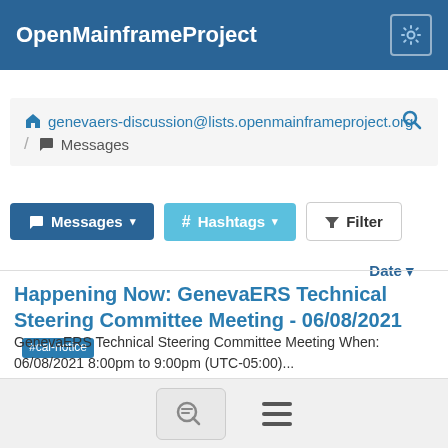OpenMainframeProject
genevaers-discussion@lists.openmainframeproject.org / Messages
Messages # Hashtags Filter
Date
Happening Now: GenevaERS Technical Steering Committee Meeting - 06/08/2021 #cal-notice
GenevaERS Technical Steering Committee Meeting When: 06/08/2021 8:00pm to 9:00pm (UTC-05:00)...
By genevaers-discussion@lists.openmainframeproject.org